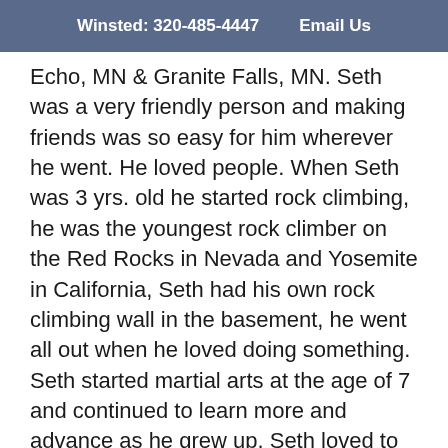Winsted: 320-485-4447    Email Us
Echo, MN & Granite Falls, MN. Seth was a very friendly person and making friends was so easy for him wherever he went. He loved people. When Seth was 3 yrs. old he started rock climbing, he was the youngest rock climber on the Red Rocks in Nevada and Yosemite in California, Seth had his own rock climbing wall in the basement, he went all out when he loved doing something. Seth started martial arts at the age of 7 and continued to learn more and advance as he grew up. Seth loved to cook, like a “gourmet chef” he often cooked for his family and friends.